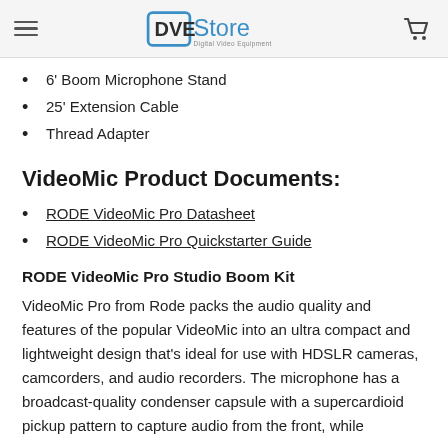DVE Store - Digital Video Equipment
6' Boom Microphone Stand
25' Extension Cable
Thread Adapter
VideoMic Product Documents:
RODE VideoMic Pro Datasheet
RODE VideoMic Pro Quickstarter Guide
RODE VideoMic Pro Studio Boom Kit
VideoMic Pro from Rode packs the audio quality and features of the popular VideoMic into an ultra compact and lightweight design that's ideal for use with HDSLR cameras, camcorders, and audio recorders. The microphone has a broadcast-quality condenser capsule with a supercardioid pickup pattern to capture audio from the front, while